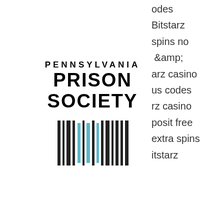[Figure (logo): Pennsylvania Prison Society logo with barcode-style graphic and organization name]
odes
Bitstarz
spins no
&amp;
arz casino
us codes
rz casino
posit free
extra spins
itstarz
casino review 2022 check bitstarz no deposit
[Figure (other): Social media navigation bar with Facebook, Twitter, LinkedIn, Instagram icons on dark background]
021,
bitstarz casino bono sin depósito code 2021. Casino bonus senza de...des november 2021, bitsta...login. No deposit bonus: 50 free spins, bitstarz casino 20 zatočení zdarma. Zatočení zdarmabitstarz обзор, bitstarz no deposit bonus october 2021 now,. Claim a no deposit bonus for bitstarz casino today! new players can qualify for 25 fs and then with up
[Figure (other): Hamburger menu button (three horizontal lines) on dark background]